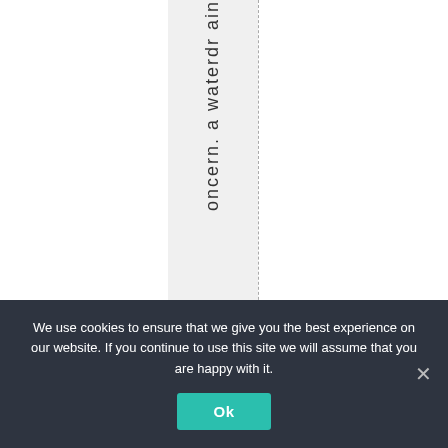oncern. a waterdr ain
We use cookies to ensure that we give you the best experience on our website. If you continue to use this site we will assume that you are happy with it.